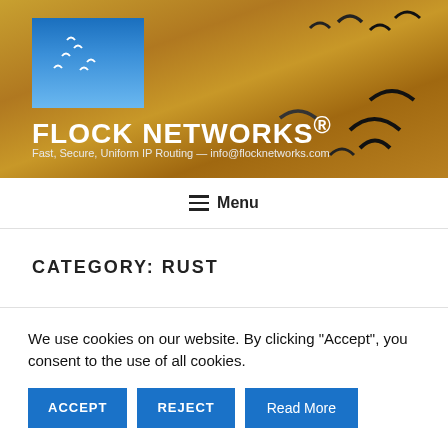[Figure (illustration): Flock Networks website header banner with desert sand dunes background, blue sky logo box with white birds, large company name, and tagline.]
FLOCK NETWORKS®
Fast, Secure, Uniform IP Routing — info@flocknetworks.com
≡ Menu
CATEGORY: RUST
We use cookies on our website. By clicking "Accept", you consent to the use of all cookies.
ACCEPT
REJECT
Read More